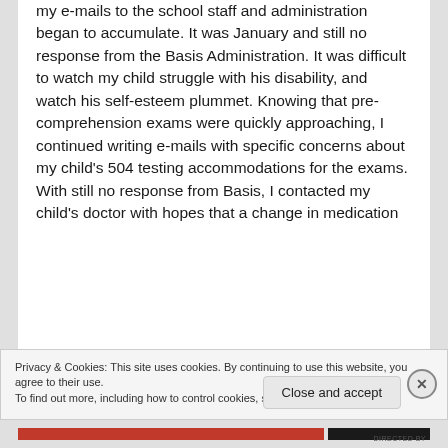my e-mails to the school staff and administration began to accumulate. It was January and still no response from the Basis Administration. It was difficult to watch my child struggle with his disability, and watch his self-esteem plummet. Knowing that pre-comprehension exams were quickly approaching, I continued writing e-mails with specific concerns about my child's 504 testing accommodations for the exams.  With still no response from Basis, I contacted my child's doctor with hopes that a change in medication
Privacy & Cookies: This site uses cookies. By continuing to use this website, you agree to their use.
To find out more, including how to control cookies, see here: Cookie Policy